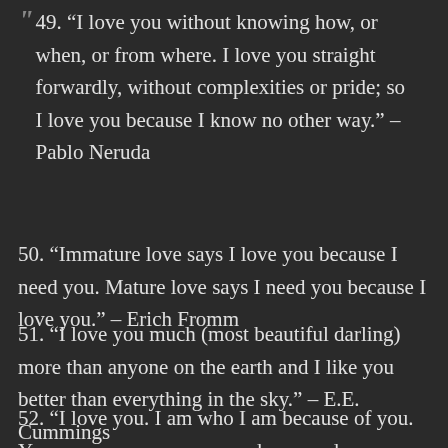49. “I love you without knowing how, or when, or from where. I love you straight forwardly, without complexities or pride; so I love you because I know no other way.” – Pablo Neruda
50. “Immature love says I love you because I need you. Mature love says I need you because I love you.” – Erich Fromm
51. “I love you much (most beautiful darling) more than anyone on the earth and I like you better than everything in the sky.” – E.E. Cummings
52. “I love you. I am who I am because of you. You are every reason, every hope, and every dream I’ve ever had, and no